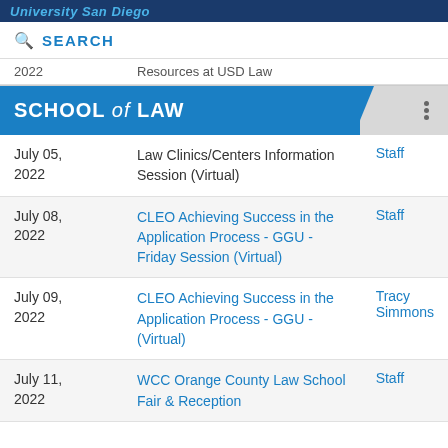University San Diego
SEARCH
| Date | Event | Contact |
| --- | --- | --- |
| 2022 | Resources at USD Law |  |
| July 05, 2022 | Law Clinics/Centers Information Session (Virtual) | Staff |
| July 08, 2022 | CLEO Achieving Success in the Application Process - GGU - Friday Session (Virtual) | Staff |
| July 09, 2022 | CLEO Achieving Success in the Application Process - GGU - (Virtual) | Tracy Simmons |
| July 11, 2022 | WCC Orange County Law School Fair & Reception | Staff |